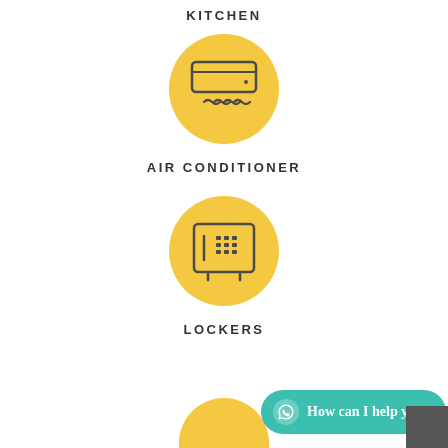KITCHEN
[Figure (illustration): Yellow circle with air conditioner icon (unit with airflow waves below)]
AIR CONDITIONER
[Figure (illustration): Yellow circle with safe/locker icon (box with keypad)]
LOCKERS
[Figure (illustration): Partial yellow circle at bottom of page]
How can I help you?